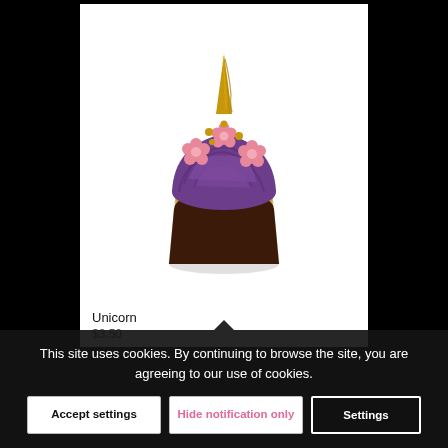[Figure (photo): A unicorn cupcake with purple swirled frosting, pink flower decorations, gold sprinkles, and a gold unicorn horn on top, placed in a gold/brown cupcake wrapper. The background is white.]
Unicorn
$3.50
This site uses cookies. By continuing to browse the site, you are agreeing to our use of cookies.
Accept settings
Hide notification only
Settings